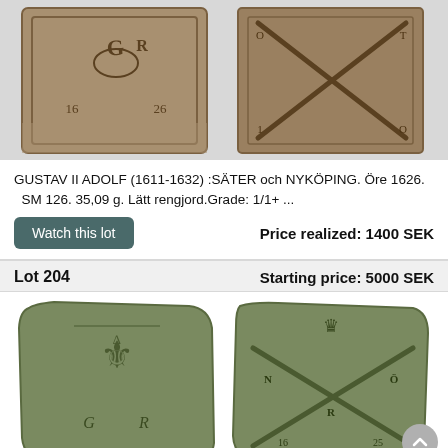[Figure (photo): Two views of a Swedish copper plate coin (Öre 1626) showing front and back faces with inscriptions and royal monogram]
GUSTAV II ADOLF (1611-1632) :SÄTER och NYKÖPING. Öre 1626. SM 126. 35,09 g. Lätt rengjord.Grade: 1/1+ ...
Watch this lot
Price realized: 1400 SEK
Lot 204
Starting price: 5000 SEK
[Figure (photo): Two views of a Swedish copper plate coin showing front with fleur-de-lis and royal monogram GR, and back with crowned cross and NÖR markings with date 1625]